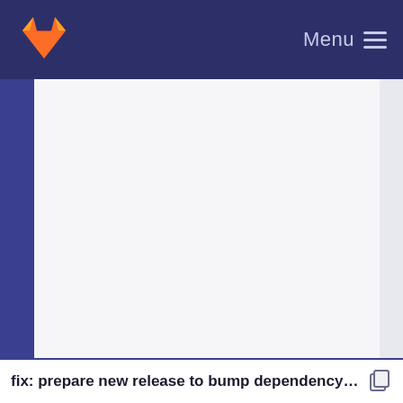GitLab — Menu
fix: prepare new release to bump dependency on r...